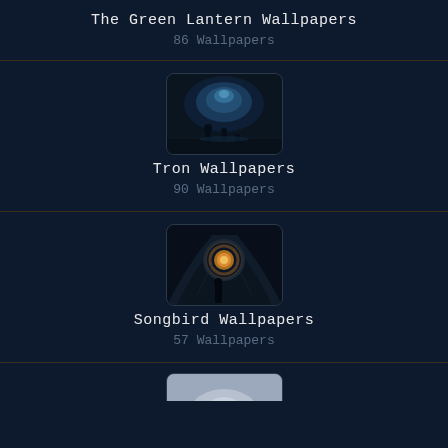The Green Lantern Wallpapers
86 Wallpapers
[Figure (photo): Thumbnail for Tron Wallpapers – dark blue scene with figures in a tunnel]
Tron Wallpapers
90 Wallpapers
[Figure (photo): Thumbnail for Songbird Wallpapers – dark tunnel with glowing orb and figure]
Songbird Wallpapers
57 Wallpapers
[Figure (photo): Partial thumbnail at bottom – light gray/blue tones, partially visible]